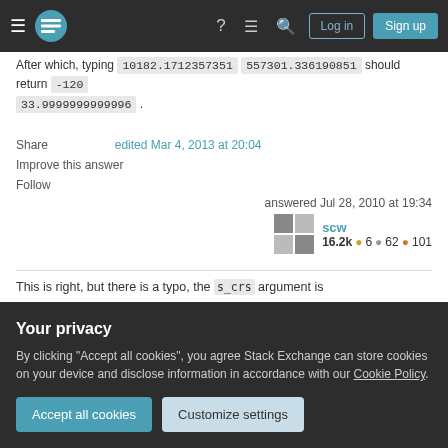Stack Exchange navigation bar with hamburger menu, logo, help, chat, search icons, Log in and Sign up buttons
After which, typing 10182.1712357351 557301.336190851 should return -120 33.9999999999996 .
Share | edited Mar 4, 2013 at 20:04
Improve this answer
Follow
answered Jul 28, 2010 at 19:34
scw 16.2k ● 6 ● 62 ● 101
This is right, but there is a typo, the s_crs argument is
Your privacy
By clicking "Accept all cookies", you agree Stack Exchange can store cookies on your device and disclose information in accordance with our Cookie Policy.
Accept all cookies
Customize settings